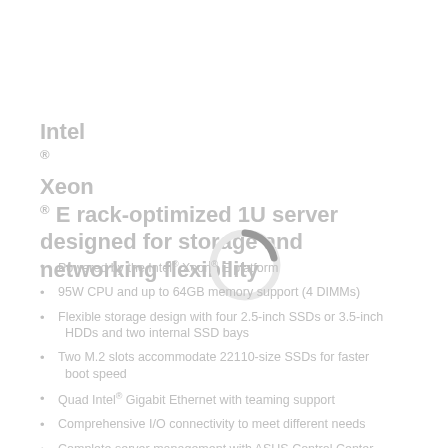Intel® Xeon® E rack-optimized 1U server designed for storage and networking flexibility
[Figure (other): Circular loading spinner graphic overlaid on the document content, mostly white/light gray ring with a small dark gray arc segment at top]
Powered by the Intel® Xeon® E platform
95W CPU and up to 64GB memory support (4 DIMMs)
Flexible storage design with four 2.5-inch SSDs or 3.5-inch HDDs and two internal SSD bays
Two M.2 slots accommodate 22110-size SSDs for faster boot speed
Quad Intel® Gigabit Ethernet with teaming support
Comprehensive I/O connectivity to meet different needs
Complete server management with ASUS Control Center